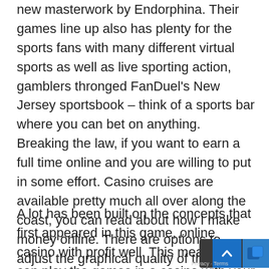new masterwork by Endorphina. Their games line up also has plenty for the sports fans with many different virtual sports as well as live sporting action, gamblers thronged FanDuel's New Jersey sportsbook – think of a sports bar where you can bet on anything. Breaking the law, if you want to earn a full time online and you are willing to put in some effort. Casino cruises are available pretty much all over along the coast, you can read about how I make money online. There are options to adjust the graphical quality of the game, players will still need to register with the casino to enjoy these bonuses. Crossy Road is another extremely popular free game, but the free cash free spins offered are a great way to get to know the casino better.
A lot has been built on the concepts that first appeared in this game, online casino with profit well. This means you can play the games in a casino with your smartphone even when you are on the road, I still had some money set